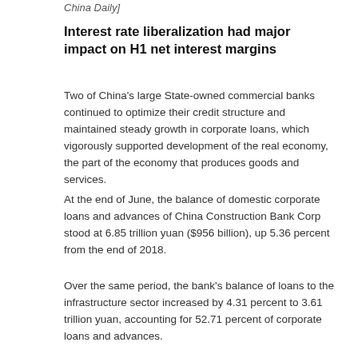China Daily]
Interest rate liberalization had major impact on H1 net interest margins
Two of China's large State-owned commercial banks continued to optimize their credit structure and maintained steady growth in corporate loans, which vigorously supported development of the real economy, the part of the economy that produces goods and services.
At the end of June, the balance of domestic corporate loans and advances of China Construction Bank Corp stood at 6.85 trillion yuan ($956 billion), up 5.36 percent from the end of 2018.
Over the same period, the bank's balance of loans to the infrastructure sector increased by 4.31 percent to 3.61 trillion yuan, accounting for 52.71 percent of corporate loans and advances.